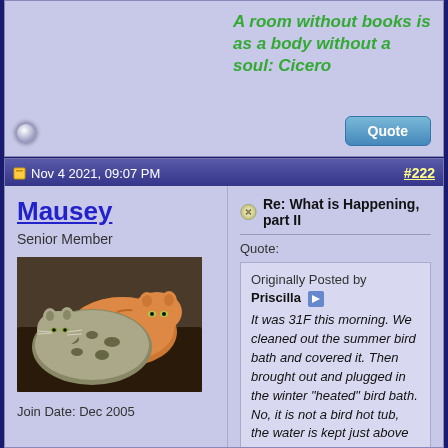A room without books is as a body without a soul: Cicero
Nov 4 2021, 09:07 PM
#222
Mausey
Senior Member
[Figure (photo): Two cats lying together, one orange tabby and one spotted/tabby cat]
Join Date: Dec 2005
Re: What is Happening, part II
Quote:
Originally Posted by Priscilla
It was 31F this morning. We cleaned out the summer bird bath and covered it. Then brought out and plugged in the winter "heated" bird bath. No, it is not a bird hot tub, the water is kept just above freezing so they always have a drink. We care about the birds. Just bought 10 40 pound bags of black oil sunflower seed to last the winter. By ordering it early we get a discount at the